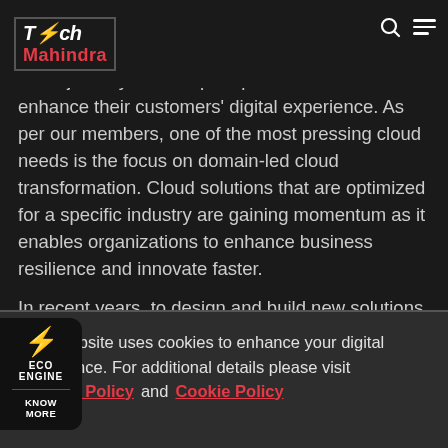Tech Mahindra [logo with search and menu icons]
different countries and industries. During our sessions, the members shared viewpoints on their cloud journey and the post-pandemic initiatives to enhance their customers' digital experience. As per our members, one of the most pressing cloud needs is the focus on domain-led cloud transformation. Cloud solutions that are optimized for a specific industry are gaining momentum as it enables organizations to enhance business resilience and innovate faster.
In recent years, to design and build new solutions catering their unique market needs, industries like Media & Entertainment, BFSI, Manufacturing, Telecom, and Healthcare have ramped up their Cloud adoption. While some of them have already gained potential benefits from their transformation, others are evolving their cloud-centric
[Figure (infographic): ECO ENGINE widget with lightning bolt icon and KNOW MORE button]
This website uses cookies to enhance your digital experience. For additional details please visit Privacy Policy and Cookie Policy